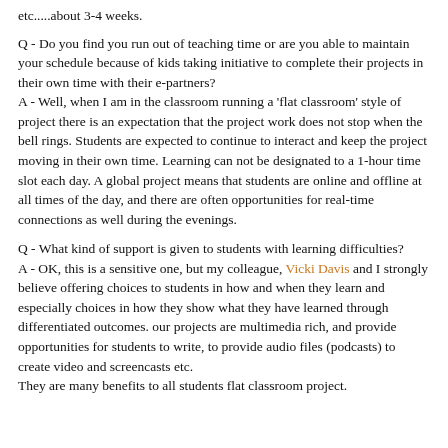etc.....about 3-4 weeks.
Q - Do you find you run out of teaching time or are you able to maintain your schedule because of kids taking initiative to complete their projects in their own time with their e-partners? A - Well, when I am in the classroom running a 'flat classroom' style of project there is an expectation that the project work does not stop when the bell rings. Students are expected to continue to interact and keep the project moving in their own time. Learning can not be designated to a 1-hour time slot each day. A global project means that students are online and offline at all times of the day, and there are often opportunities for real-time connections as well during the evenings.
Q - What kind of support is given to students with learning difficulties? A - OK, this is a sensitive one, but my colleague, Vicki Davis and I strongly believe offering choices to students in how and when they learn and especially choices in how they show what they have learned through differentiated outcomes. our projects are multimedia rich, and provide opportunities for students to write, to provide audio files (podcasts) to create video and screencasts etc. They are many benefits to all students flat classroom project.